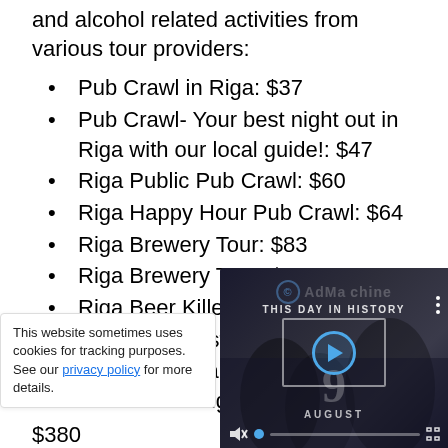and alcohol related activities from various tour providers:
Pub Crawl in Riga: $37
Pub Crawl- Your best night out in Riga with our local guide!: $47
Riga Public Pub Crawl: $60
Riga Happy Hour Pub Crawl: $64
Riga Brewery Tour: $83
Riga Brewery Tour: $83
Riga Beer Killer Bar Crawl: $83
Riga Wine Tasting Session: $115
Gauja National ... Wine Tasting: $...
This website sometimes uses cookies for tracking purposes. See our privacy policy for more details.
[Figure (screenshot): A video player overlay showing 'THIS DAY IN HISTORY' with a play button, the number 9, and 'AUGUST' label, with AdMachine watermark]
$380